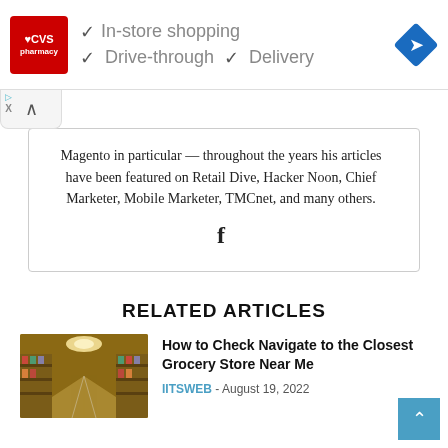[Figure (screenshot): CVS Pharmacy advertisement banner showing In-store shopping, Drive-through, and Delivery checkmarks with CVS logo and navigation diamond icon]
Magento in particular — throughout the years his articles have been featured on Retail Dive, Hacker Noon, Chief Marketer, Mobile Marketer, TMCnet, and many others.
f
RELATED ARTICLES
[Figure (photo): Interior of a grocery store showing long aisles with shelves of products and warm overhead lighting]
How to Check Navigate to the Closest Grocery Store Near Me
IITSWEB - August 19, 2022